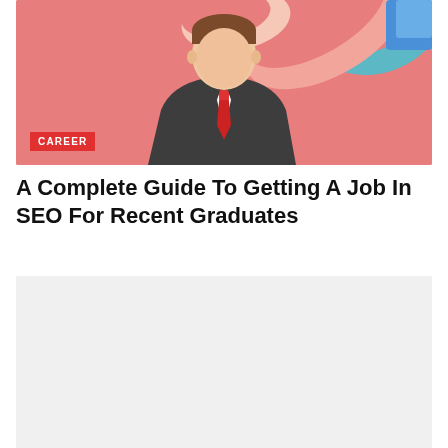[Figure (illustration): Flat-style illustration of a businessman in a dark suit with a red tie against a pink/salmon background, with abstract graphic elements in the upper right. A red 'CAREER' label badge overlays the lower left corner.]
A Complete Guide To Getting A Job In SEO For Recent Graduates
[Figure (illustration): Light gray placeholder / partially loaded image block below the title.]